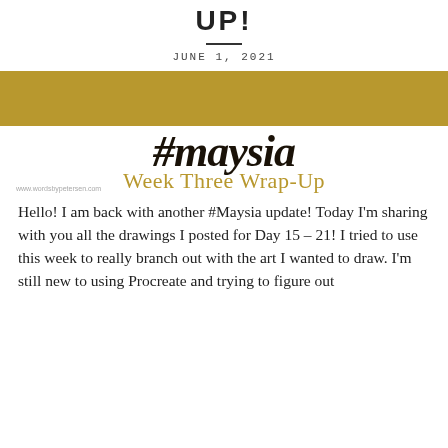UP!
JUNE 1, 2021
[Figure (illustration): Gold/khaki colored banner bar followed by hand-lettered '#maysia' in dark brush script and 'Week Three Wrap-Up' in golden serif text below it. Watermark reads www.wordsbypetersen.com]
Hello! I am back with another #Maysia update! Today I'm sharing with you all the drawings I posted for Day 15 – 21! I tried to use this week to really branch out with the art I wanted to draw. I'm still new to using Procreate and trying to figure out